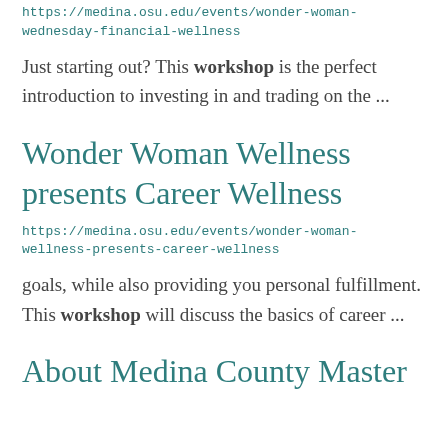https://medina.osu.edu/events/wonder-woman-wednesday-financial-wellness
Just starting out? This workshop is the perfect introduction to investing in and trading on the ...
Wonder Woman Wellness presents Career Wellness
https://medina.osu.edu/events/wonder-woman-wellness-presents-career-wellness
goals, while also providing you personal fulfillment. This workshop will discuss the basics of career ...
About Medina County Master